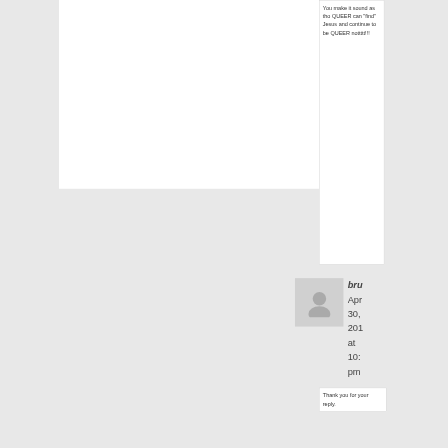You make it sound as tho QUEER can “find” Jesus and continue to be QUEER nottttt!!!
bru
Apr 30, 201 at 10: pm
Thank you for your reply.